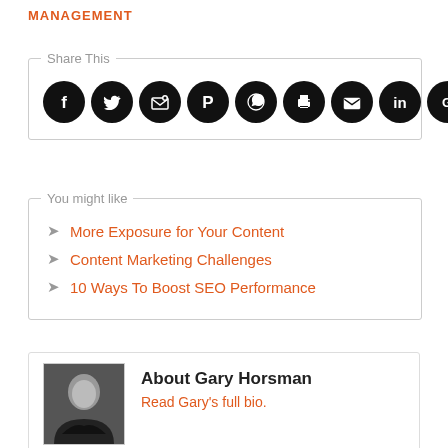MANAGEMENT
Share This
[Figure (infographic): Row of 10 social share icon buttons (circular black icons): Facebook, Twitter, Email/Feed, Pinterest, WhatsApp, Print, Gmail, LinkedIn, Google+, More]
You might like
More Exposure for Your Content
Content Marketing Challenges
10 Ways To Boost SEO Performance
About Gary Horsman
Read Gary's full bio.
[Figure (photo): Headshot of Gary Horsman, a man in a black shirt with arms crossed, dark background]